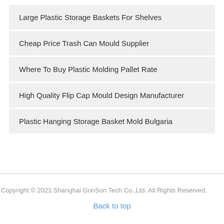Large Plastic Storage Baskets For Shelves
Cheap Price Trash Can Mould Supplier
Where To Buy Plastic Molding Pallet Rate
High Quality Flip Cap Mould Design Manufacturer
Plastic Hanging Storage Basket Mold Bulgaria
Copyright © 2021.Shanghai GonSon Tech Co.,Ltd. All Rights Reserved.
Back to top